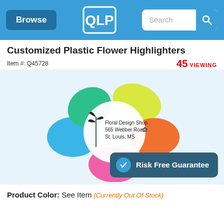Browse | [QLP Logo] | Search
Customized Plastic Flower Highlighters
Item #: Q45728
45 VIEWING
[Figure (photo): Flower-shaped plastic highlighter set with multiple colored petal-shaped ink chambers (green, blue, pink, orange, yellow) and a white center bearing a sample imprint: 'Floral Design Shop, 565 Webber Road, St. Louis, MS']
Risk Free Guarantee
Product Color: See Item  (Currently Out Of Stock)